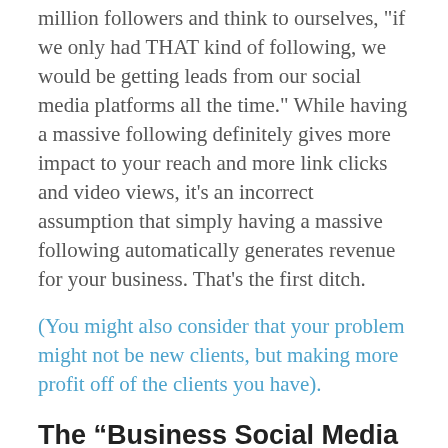million followers and think to ourselves, "if we only had THAT kind of following, we would be getting leads from our social media platforms all the time." While having a massive following definitely gives more impact to your reach and more link clicks and video views, it's an incorrect assumption that simply having a massive following automatically generates revenue for your business. That's the first ditch.
(You might also consider that your problem might not be new clients, but making more profit off of the clients you have).
The “Business Social Media Accounts Are Just For Brand Awareness, Not Revenue” ditch: